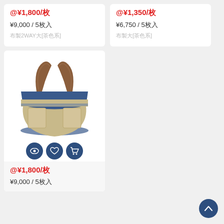@¥1,800/枚
¥9,000 / 5枚入
布製2WAYバッグ大[茶色系]
@¥1,350/枚
¥6,750 / 5枚入
布製バッグ大[茶色系]
[Figure (photo): Blue and beige canvas tote bag with brown leather handles]
@¥1,800/枚
¥9,000 / 5枚入